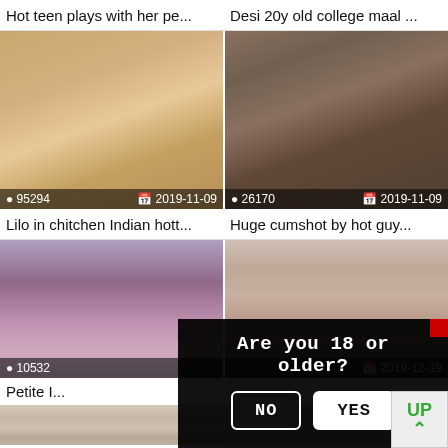Hot teen plays with her pe...
Desi 20y old college maal ...
[Figure (photo): Thumbnail image 1 with view count 95294 and date 2019-11-09]
[Figure (photo): Thumbnail image 2 with view count 26170 and date 2019-11-09]
Lilo in chitchen Indian hott...
Huge cumshot by hot guy...
[Figure (photo): Thumbnail image 3 with view count 10532 and date partial]
[Figure (photo): Thumbnail image 4 with date 2019-12-19]
Petite I...
Are you 18 or older?
NO
YES